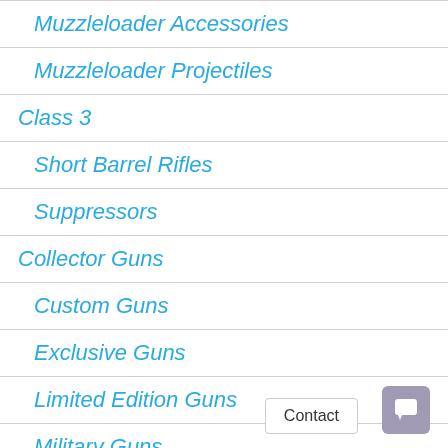Muzzleloader Accessories
Muzzleloader Projectiles
Class 3
Short Barrel Rifles
Suppressors
Collector Guns
Custom Guns
Exclusive Guns
Limited Edition Guns
Military Guns
Old West Guns
Competition Guns